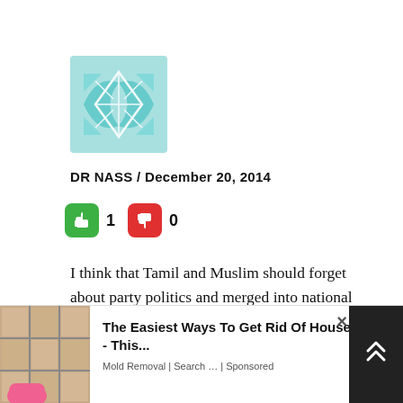[Figure (logo): Decorative geometric/abstract logo in light teal/cyan color with interlocking angular shapes]
DR NASS / December 20, 2014
[Figure (infographic): Thumbs up green button with count 1, thumbs down red button with count 0]
I think that Tamil and Muslim should forget about party politics and merged into national politics. It means we should have a national government in Sri lanka; No more communal politics
We should have either national government or two party only politics:
[Figure (screenshot): Advertisement overlay at bottom: image of tiled bathroom with pink gloved hand, ad title 'The Easiest Ways To Get Rid Of House Mold - This...', source 'Mold Removal | Search ... | Sponsored', close button X, dark scroll/navigation button on right]